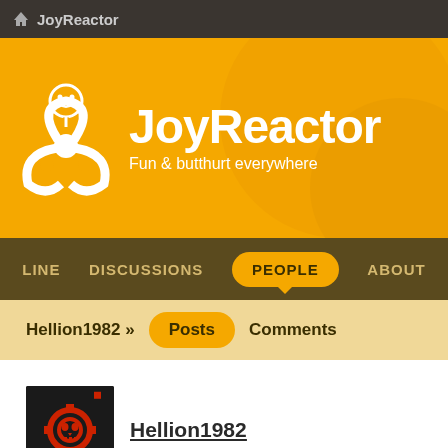JoyReactor
[Figure (logo): JoyReactor banner with biohazard smiley logo, title 'JoyReactor' and subtitle 'Fun & butthurt everywhere' on orange background]
LINE   DISCUSSIONS   PEOPLE   ABOUT
Hellion1982 »   Posts   Comments
[Figure (photo): User avatar: dark background with red gear/skull emblem]
Hellion1982
comics   story   Hansel & Gretal